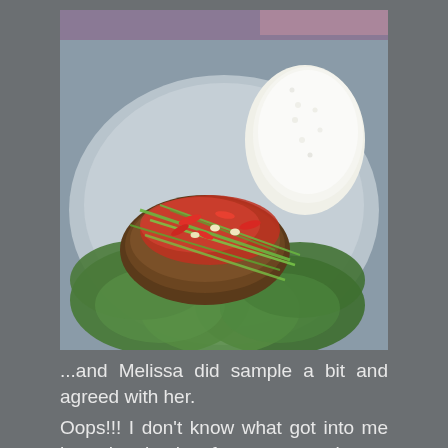[Figure (photo): A plate of Asian-style dish featuring stir-fried meat with chili peppers, green onions, and garlic on a bed of green lettuce leaves, with a mound of white rice on the side, served on a light blue plate.]
...and Melissa did sample a bit and agreed with her.
Oops!!! I don't know what got into me but I simply forgot to take a photograph of what I